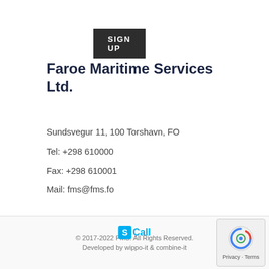SIGN UP
Faroe Maritime Services Ltd.
Sundsvegur 11, 100 Torshavn, FO
Tel: +298 610000
Fax: +298 610001
Mail: fms@fms.fo
© 2017-2022 FMS. All Rights Reserved.
Developed by wippo-it & combine-it